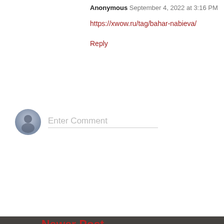Anonymous September 4, 2022 at 3:16 PM
https://xwow.ru/tag/bahar-nabieva/
Reply
Enter Comment
Newer Post
Subscribe to: Post Comments (Atom)
[Figure (photo): Black and white photo of WWI soldiers silhouettes with helmets and rifles, misty background]